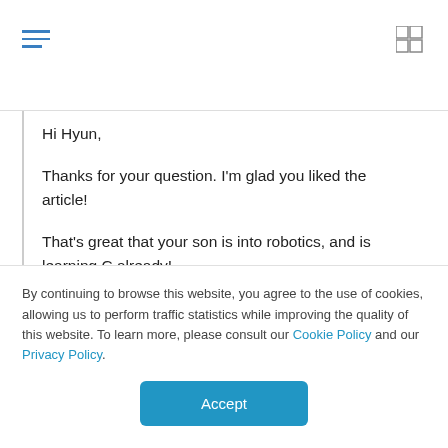Navigation bar with hamburger menu and grid icon
Hi Hyun,

Thanks for your question. I'm glad you liked the article!

That's great that your son is into robotics, and is learning C already!

I haven't used Robot C myself. I used Lego Mindstorm when I was his age, but it was back when it had the RCX brick (you can read about it in my post:
By continuing to browse this website, you agree to the use of cookies, allowing us to perform traffic statistics while improving the quality of this website. To learn more, please consult our Cookie Policy and our Privacy Policy.
Accept